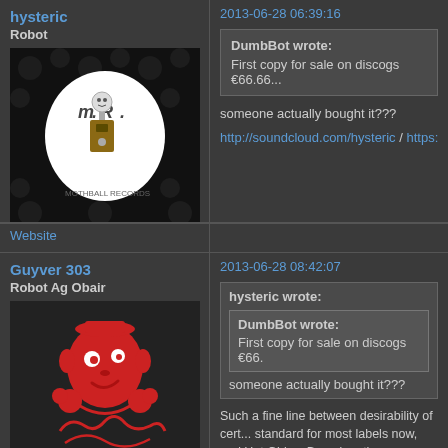hysteric
Robot
[Figure (photo): Avatar image with M.R. logo on dark background with skull patterns]
Offline
From: melbourne
Registered: 2008-07-08
Posts: 1,265
2013-06-28 06:39:16
DumbBot wrote:
First copy for sale on discogs €66.66...
someone actually bought it???
http://soundcloud.com/hysteric  /  https://so...
Website
Guyver 303
Robot Ag Obair
[Figure (illustration): Red cartoon avatar illustration of a face/character on dark background]
Offline
Registered: 2008-07-09
Posts: 874
2013-06-28 08:42:07
hysteric wrote:
DumbBot wrote:
First copy for sale on discogs €66...
someone actually bought it???
Such a fine line between desirability of cert... standard for most labels now, and Hot Girls... Based on the success of the first two...